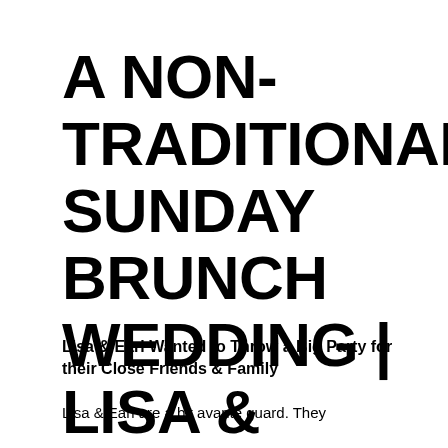A NON-TRADITIONAL SUNDAY BRUNCH WEDDING | LISA & EARL
Lisa & Earl Wanted to Throw a Big Party for their Close Friends & Family
Lisa & Earl are a bit avante guard. They